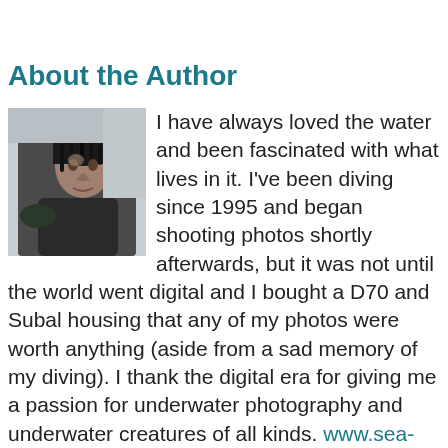About the Author
[Figure (photo): Author photo: a person wearing a wetsuit, photographed outdoors, appearing to be a diver]
I have always loved the water and been fascinated with what lives in it. I've been diving since 1995 and began shooting photos shortly afterwards, but it was not until the world went digital and I bought a D70 and Subal housing that any of my photos were worth anything (aside from a sad memory of my diving). I thank the digital era for giving me a passion for underwater photography and underwater creatures of all kinds. www.sea-visions.net